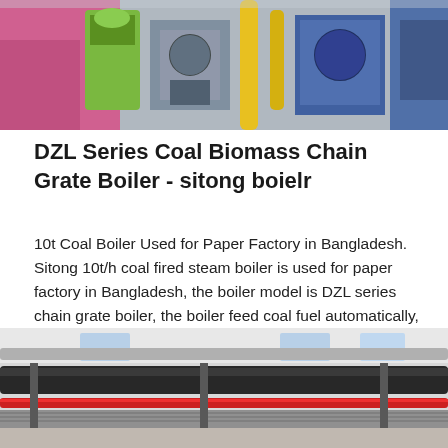[Figure (photo): Industrial boiler equipment — multiple boiler units and machinery in a factory setting, showing green, pink, yellow, and metallic industrial equipment with pipes and valves.]
DZL Series Coal Biomass Chain Grate Boiler - sitong boielr
10t Coal Boiler Used for Paper Factory in Bangladesh. Sitong 10t/h coal fired steam boiler is used for paper factory in Bangladesh, the boiler model is DZL series chain grate boiler, the boiler feed coal fuel automatically, could…
[Figure (photo): Interior of an industrial boiler room showing large black pipes, red pipes, metal walkways, windows providing natural light, and ceiling-mounted piping infrastructure.]